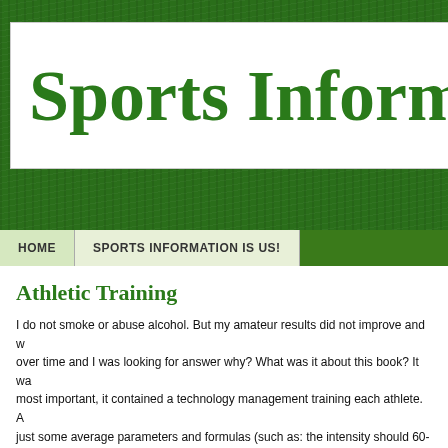Sports Informatio
HOME   SPORTS INFORMATION IS US!
Athletic Training
I do not smoke or abuse alcohol. But my amateur results did not improve and w... over time and I was looking for answer why? What was it about this book? It wa... most important, it contained a technology management training each athlete. A... just some average parameters and formulas (such as: the intensity should 60-7... 80-90% of the submaximal heart rate, which is calculated in such a manner, an... parameter can be calculated in such a formula, where the letter of your age, bu... ...). Speaking candidly John Amos told us the story. The methodology gives ve... instructions where to take own parameters and then what to do with them. All tr... coach for the condition divided into three parts: Field Compensation of the stab... or addiction and development of each of which he gave a certain percentage of